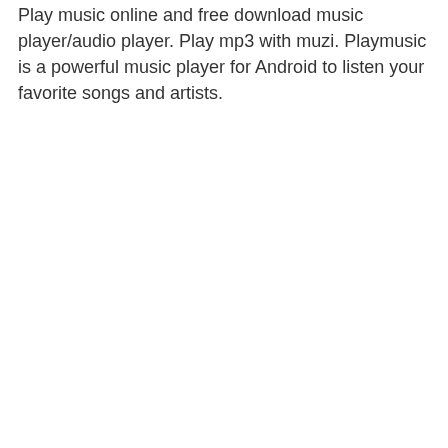Play music online and free download music player/audio player. Play mp3 with muzi. Playmusic is a powerful music player for Android to listen your favorite songs and artists.